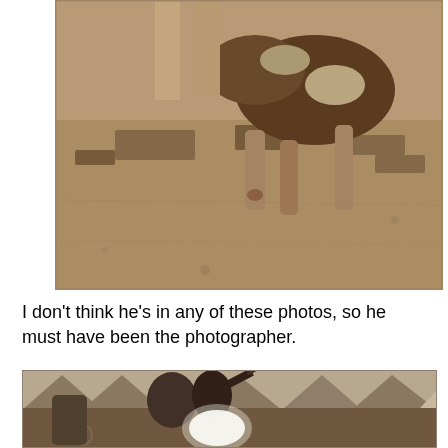[Figure (photo): Sepia-toned vintage photograph showing an animal (dog or goat) on rough ground with sparse dry grass, partially cropped, showing legs and lower body of a person at the top edge.]
I don't think he's in any of these photos, so he must have been the photographer.
[Figure (photo): Sepia-toned vintage photograph showing soldiers or military personnel near canvas tents, one figure appears to be raising something overhead, and a bright white glowing object or light is visible in the center foreground.]